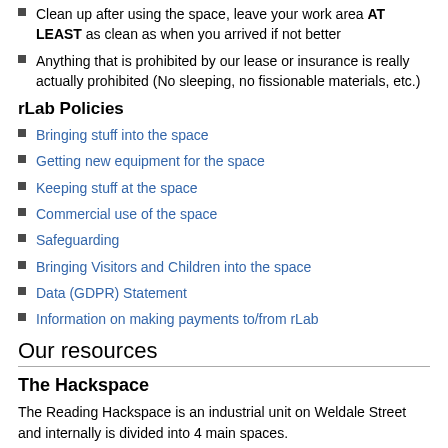Clean up after using the space, leave your work area AT LEAST as clean as when you arrived if not better
Anything that is prohibited by our lease or insurance is really actually prohibited (No sleeping, no fissionable materials, etc.)
rLab Policies
Bringing stuff into the space
Getting new equipment for the space
Keeping stuff at the space
Commercial use of the space
Safeguarding
Bringing Visitors and Children into the space
Data (GDPR) Statement
Information on making payments to/from rLab
Our resources
The Hackspace
The Reading Hackspace is an industrial unit on Weldale Street and internally is divided into 4 main spaces.
The main room upstairs is where most electronics and software hacking takes place and also the main social area.